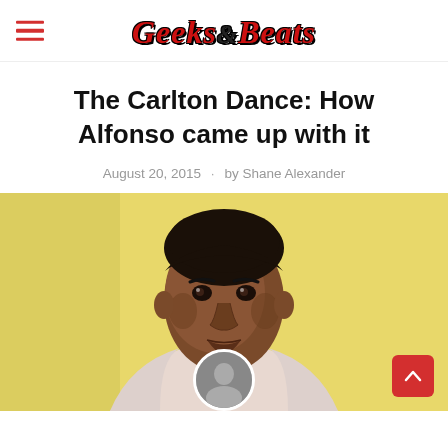Geeks&Beats
The Carlton Dance: How Alfonso came up with it
August 20, 2015 · by Shane Alexander
[Figure (photo): Portrait photo of a young Alfonso Ribeiro (Carlton from Fresh Prince of Bel-Air) against a yellow background, wearing a light pink/white top, looking at the camera with a slight smile.]